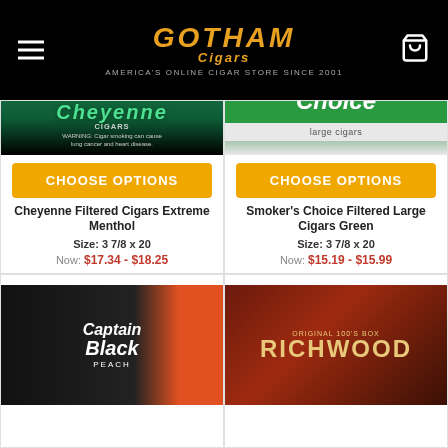Gotham Cigars — America's Online Cigar Store Since 2001
[Figure (photo): Cheyenne Filtered Cigars Extreme Menthol product image — green/black packaging with warning label]
CHOOSE OPTIONS
Cheyenne Filtered Cigars Extreme Menthol
Size: 3 7/8 x 20
Now: $17.34 - $18.25
[Figure (photo): Smoker's Choice Filtered Large Cigars Green product image — green and silver packaging]
CHOOSE OPTIONS
Smoker's Choice Filtered Large Cigars Green
Size: 3 7/8 x 20
Now: $15.19 - $15.99
[Figure (photo): Captain Black Peach cigar product image — black and orange packaging]
[Figure (photo): Richwood Original 100's Box product image — dark red/brown packaging with gold text]